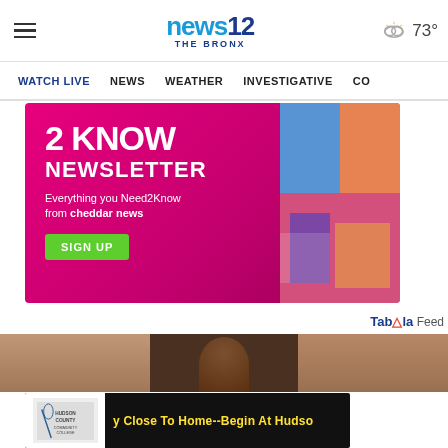news12 THE BRONX | 73°
WATCH LIVE  NEWS  WEATHER  INVESTIGATIVE  CO
[Figure (advertisement): 2KNOW NEWSLETTER ad on magenta/pink background. Text: '2 KNOW NEWSLETTER Everything you Need2Know from cheddar news' with a green SIGN UP button. Right side shows colorful digital signage imagery.]
Taboola Feed
[Figure (photo): Photo strip showing the top of a person's head/hair against a muted background.]
[Figure (advertisement): Hudson County Community College ad with yellow text partially visible: 'y Close To Home--Begin At Hudso']